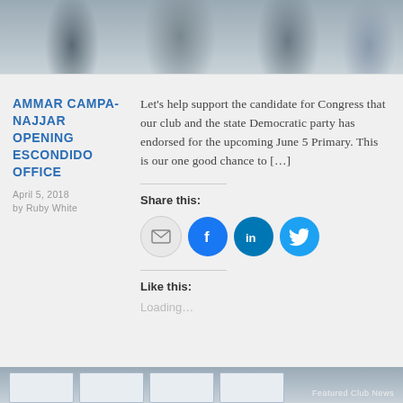[Figure (photo): Group photo of people at a campaign event, upper portion of page]
AMMAR CAMPA-NAJJAR OPENING ESCONDIDO OFFICE
April 5, 2018
by Ruby White
Let’s help support the candidate for Congress that our club and the state Democratic party has endorsed for the upcoming June 5 Primary. This is our one good chance to […]
Share this:
[Figure (infographic): Share buttons: email, Facebook, LinkedIn, Twitter icons]
Like this:
Loading…
[Figure (photo): Bottom partial photo showing computer screens, with 'Featured Club News' label overlay]